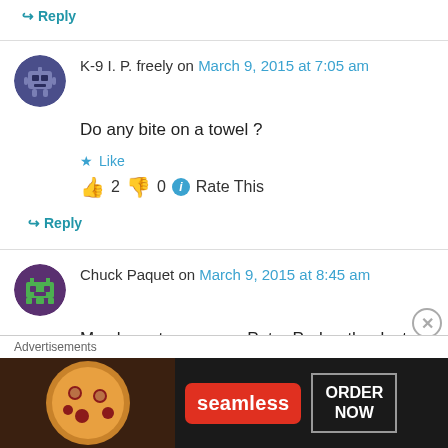↪ Reply
K-9 I. P. freely on March 9, 2015 at 7:05 am
Do any bite on a towel ?
★ Like
👍 2 👎 0 ℹ Rate This
↪ Reply
Chuck Paquet on March 9, 2015 at 8:45 am
May have to move up Peter Porker thanks to the latest Spider Man mega thread.
Advertisements
[Figure (screenshot): Seamless pizza advertisement banner with pizza image on left, Seamless red logo button, and ORDER NOW button on right]